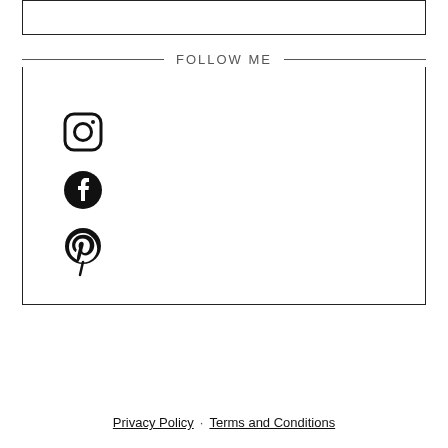[Figure (other): Empty white box with border at top of page]
FOLLOW ME
[Figure (infographic): Box containing three social media icons vertically stacked: Instagram, Facebook, Pinterest]
Privacy Policy · Terms and Conditions